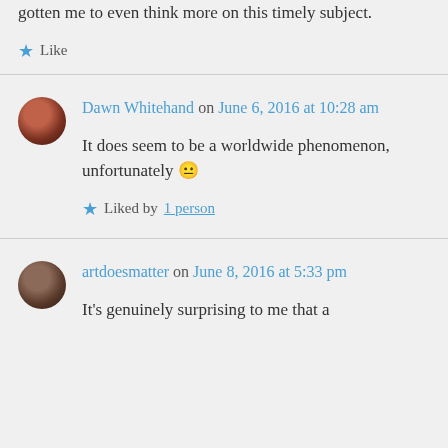gotten me to even think more on this timely subject.
★ Like
Dawn Whitehand on June 6, 2016 at 10:28 am
It does seem to be a worldwide phenomenon, unfortunately 😐
★ Liked by 1 person
artdoesmatter on June 8, 2016 at 5:33 pm
It's genuinely surprising to me that a